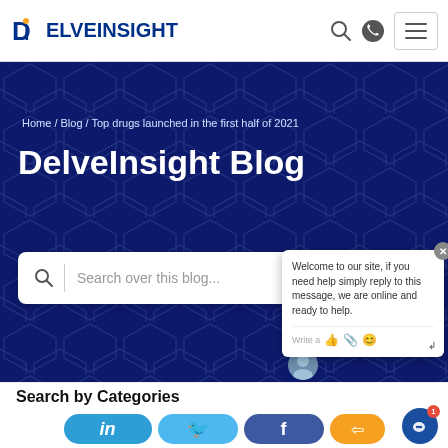[Figure (logo): DelveInsight logo with blue D and orange dot on i]
Home / Blog / Top drugs launched in the first half of 2021
DelveInsight Blog
Search over this blog...
Welcome to our site, if you need help simply reply to this message, we are online and ready to help.
Write a
Search by Categories
[Figure (screenshot): Social media share buttons: LinkedIn, Twitter, Facebook, share icon, and chat bubble button]